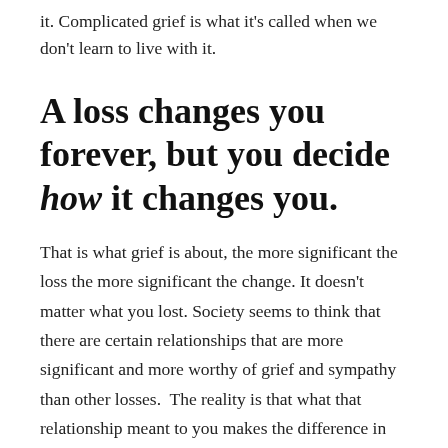it. Complicated grief is what it's called when we don't learn to live with it.
A loss changes you forever, but you decide how it changes you.
That is what grief is about, the more significant the loss the more significant the change. It doesn't matter what you lost. Society seems to think that there are certain relationships that are more significant and more worthy of grief and sympathy than other losses.  The reality is that what that relationship meant to you makes the difference in grief.  While you may have one